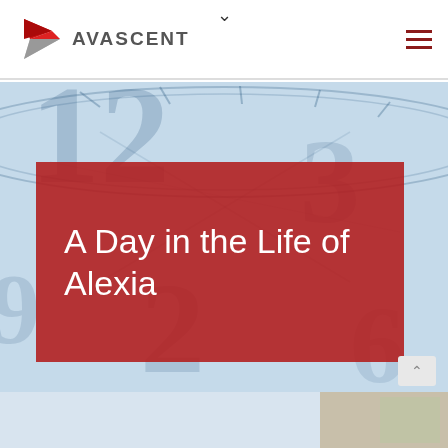AVASCENT
[Figure (illustration): Close-up photo of clock face numerals in blue/white tones used as decorative hero background]
A Day in the Life of Alexia
[Figure (photo): Partial photograph visible at bottom of page, appears to show a person outdoors]